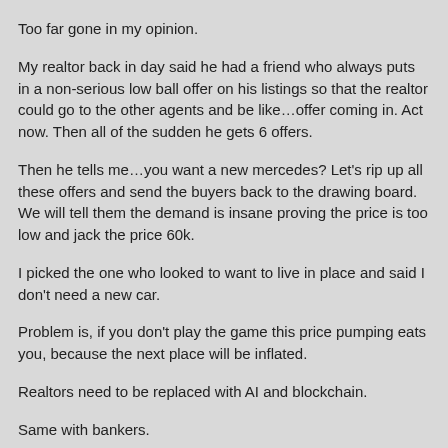Too far gone in my opinion.
My realtor back in day said he had a friend who always puts in a non-serious low ball offer on his listings so that the realtor could go to the other agents and be like…offer coming in. Act now. Then all of the sudden he gets 6 offers.
Then he tells me…you want a new mercedes? Let's rip up all these offers and send the buyers back to the drawing board. We will tell them the demand is insane proving the price is too low and jack the price 60k.
I picked the one who looked to want to live in place and said I don't need a new car.
Problem is, if you don't play the game this price pumping eats you, because the next place will be inflated.
Realtors need to be replaced with AI and blockchain.
Same with bankers.
Put in limits on what one can lend on.
And the final change that would fix it all. 1 home per family for living in.